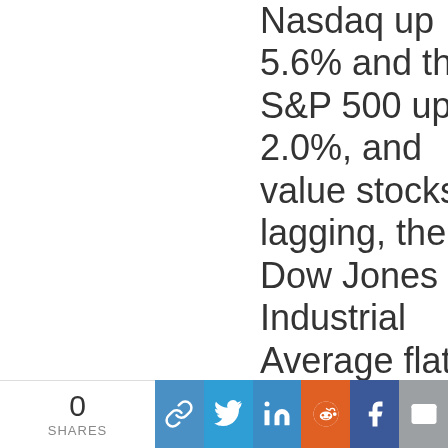Nasdaq up 5.6% and the S&P 500 up 2.0%, and value stocks lagging, the Dow Jones Industrial Average flat. The stock market seemed to be following the...
0 SHARES [share buttons: link, twitter, linkedin, reddit, facebook, email]